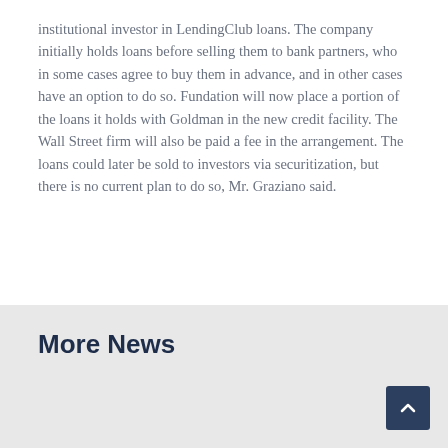institutional investor in LendingClub loans. The company initially holds loans before selling them to bank partners, who in some cases agree to buy them in advance, and in other cases have an option to do so. Fundation will now place a portion of the loans it holds with Goldman in the new credit facility. The Wall Street firm will also be paid a fee in the arrangement. The loans could later be sold to investors via securitization, but there is no current plan to do so, Mr. Graziano said.
More News